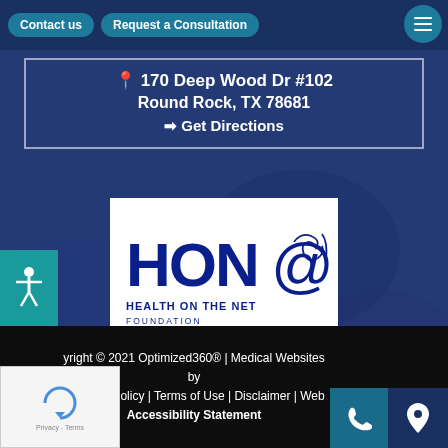Contact us | Request a Consultation
170 Deep Wood Dr #102
Round Rock, TX 78681
➡ Get Directions
[Figure (logo): HON @ Health On The Net Foundation logo — white background with dark blue HON@ text and cursive signature, subtitle HEALTH ON THE NET FOUNDATION]
Copyright © 2021 Optimized360® | Medical Websites by [Optimized360] | Privacy Policy | Terms of Use | Disclaimer | Web Accessibility Statement